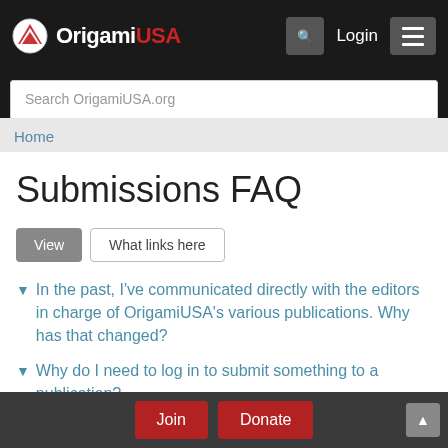OrigamiUSA — Login — Menu — Search OrigamiUSA.org
Home
Submissions FAQ
View | What links here
In the past, I've communicated directly with the editors in charge of OrigamiUSA's various publications. Why has that changed?
Why do I need to log in to submit something to a publication?
Join  Donate